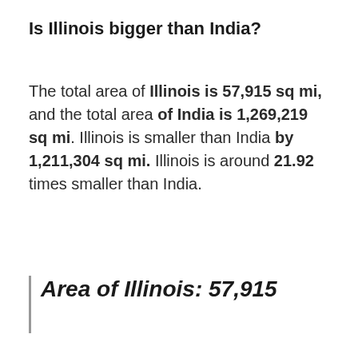Is Illinois bigger than India?
The total area of Illinois is 57,915 sq mi, and the total area of India is 1,269,219 sq mi. Illinois is smaller than India by 1,211,304 sq mi. Illinois is around 21.92 times smaller than India.
Area of Illinois: 57,915